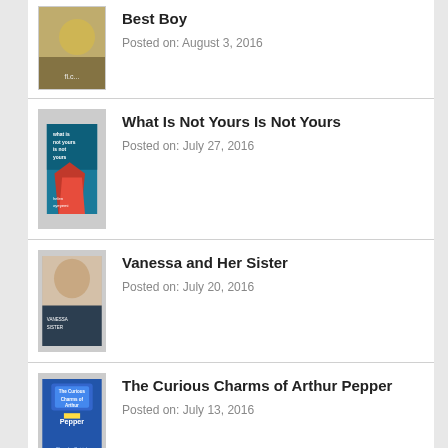Best Boy
Posted on: August 3, 2016
What Is Not Yours Is Not Yours
Posted on: July 27, 2016
Vanessa and Her Sister
Posted on: July 20, 2016
The Curious Charms of Arthur Pepper
Posted on: July 13, 2016
The Dogs of Littlefield